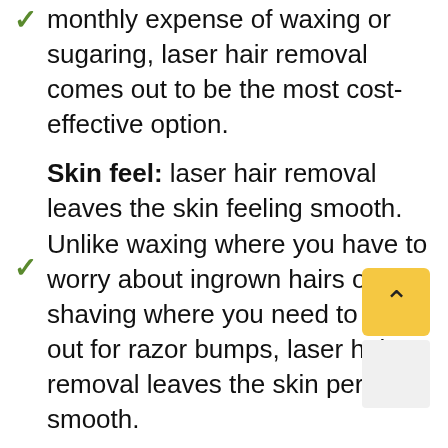monthly expense of waxing or sugaring, laser hair removal comes out to be the most cost-effective option.
Skin feel: laser hair removal leaves the skin feeling smooth. Unlike waxing where you have to worry about ingrown hairs or shaving where you need to look out for razor bumps, laser hair removal leaves the skin perfectly smooth.
Permanence: laser hair removal is a